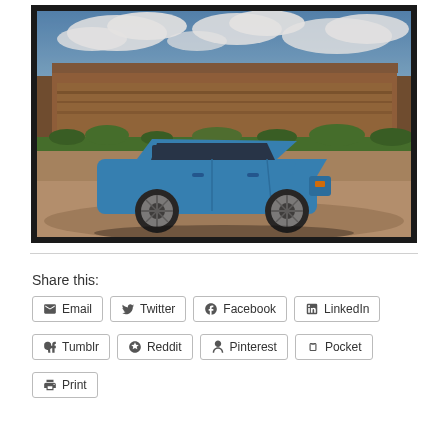[Figure (photo): A blue Ford C-Max hatchback parked on a dirt road with a dramatic red rock mesa/butte formation in the background under a partly cloudy sky. Green scrubby vegetation visible in the middle distance. Photo has a darkened black border frame.]
Share this:
Email
Twitter
Facebook
LinkedIn
Tumblr
Reddit
Pinterest
Pocket
Print